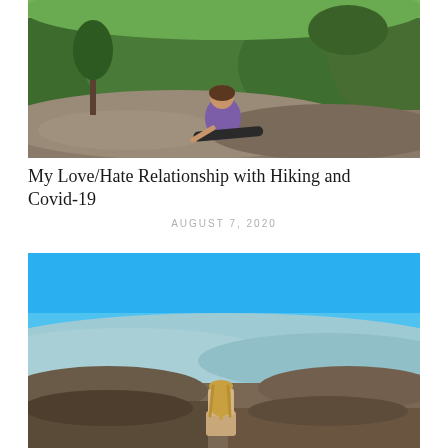[Figure (photo): Woman in athletic wear sitting on a large rock at a mountain overlook with lush green forested mountains in the background]
My Love/Hate Relationship with Hiking and Covid-19
AUGUST 7, 2020
[Figure (photo): Person with long blonde hair sitting on rocky mountain summit looking out over a vast mountain landscape under a vivid blue sky]